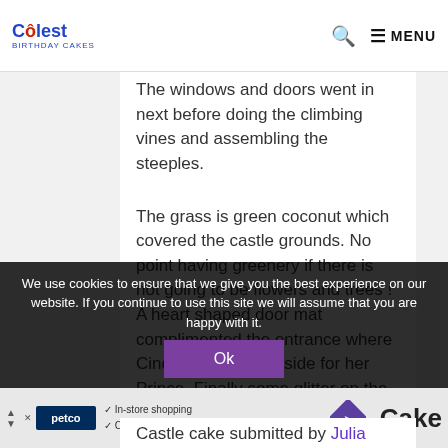Coolest Birthday Cakes — MENU
The windows and doors went in next before doing the climbing vines and assembling the steeples.
The grass is green coconut which covered the castle grounds. No point having greenery if there is not going to be flowers and trees ! A heart shaped door mat complimented the entrance where Cinderella waits outside for her Prince. Finally some glitter on the entire cake to make it dazzle and wow the kids and grown ups (not adults).
[Figure (screenshot): Cookie consent banner overlay with text and Ok button]
[Figure (screenshot): Advertisement bar with Petco logo, in-store shopping and curbside pickup text, purple diamond icon, and the word Cake]
Castle cake submitted by Julia